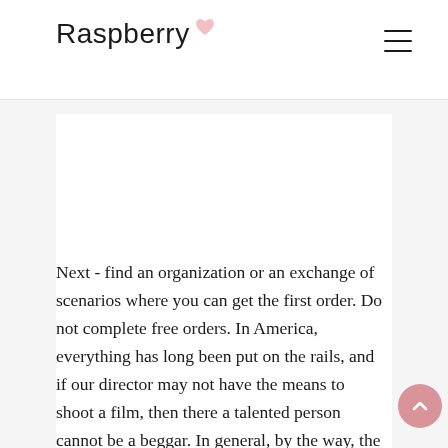Raspberry
[Figure (illustration): Gray/white blank content image placeholder area]
Next - find an organization or an exchange of scenarios where you can get the first order. Do not complete free orders. In America, everything has long been put on the rails, and if our director may not have the means to shoot a film, then there a talented person cannot be a beggar. In general, by the way, the myth of a hungry artist is